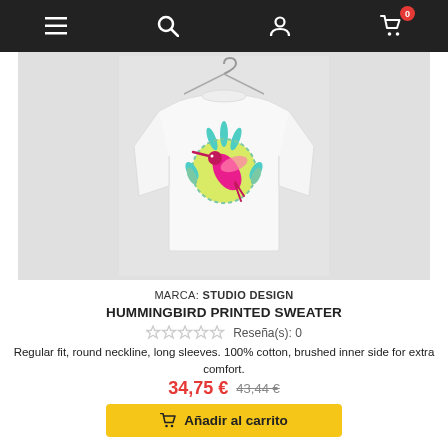Navigation bar with menu, search, user, and cart icons
[Figure (photo): White long-sleeve sweater with a hummingbird circular graphic print featuring teal feathers and a pink bird on a yellow circle background, displayed on a hanger against a light gray background]
MARCA: STUDIO DESIGN
HUMMINGBIRD PRINTED SWEATER
☆☆☆☆☆  Reseña(s): 0
Regular fit, round neckline, long sleeves. 100% cotton, brushed inner side for extra comfort.
34,75 €  43,44 €
Añadir al carrito